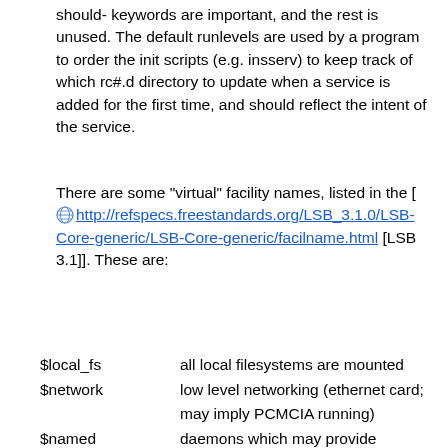should- keywords are important, and the rest is unused. The default runlevels are used by a program to order the init scripts (e.g. insserv) to keep track of which rc#.d directory to update when a service is added for the first time, and should reflect the intent of the service.
There are some "virtual" facility names, listed in the [ http://refspecs.freestandards.org/LSB_3.1.0/LSB-Core-generic/LSB-Core-generic/facilname.html [LSB 3.1]]. These are:
| $local_fs | all local filesystems are mounted |
| $network | low level networking (ethernet card; may imply PCMCIA running) |
| $named | daemons which may provide hostname resolution (if present) are running. For example, daemons to query DNS, NIS+, or |